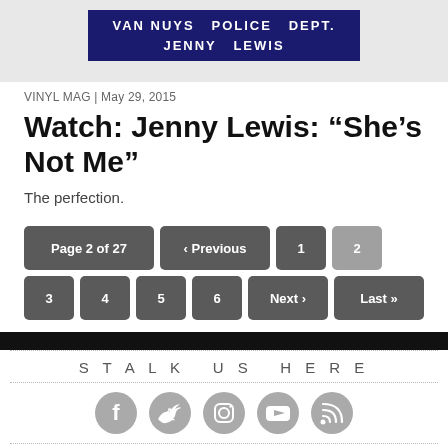[Figure (photo): Police department sign reading VAN NUYS POLICE DEPT. JENNY LEWIS on dark navy background]
VINYL MAG | May 29, 2015
Watch: Jenny Lewis: “She’s Not Me”
The perfection.
Page 2 of 27 ‹ Previous 1 2 3 4 5 6 Next › Last »
STALK US HERE
[Figure (infographic): Social media icons: Facebook, Twitter, Instagram, YouTube, RSS]
MAILING LIST